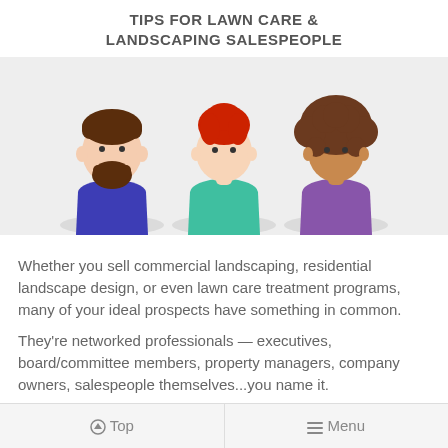TIPS FOR LAWN CARE & LANDSCAPING SALESPEOPLE
[Figure (illustration): Three illustrated avatar figures side by side: a bearded man with dark hair wearing a blue shirt, a woman with short red hair wearing a teal top, and a woman with curly dark hair wearing a purple top. Background is light gray.]
Whether you sell commercial landscaping, residential landscape design, or even lawn care treatment programs, many of your ideal prospects have something in common.
They're networked professionals — executives, board/committee members, property managers, company owners, salespeople themselves...you name it.
They also know a lot of other people just like
⬆ Top   ≡ Menu